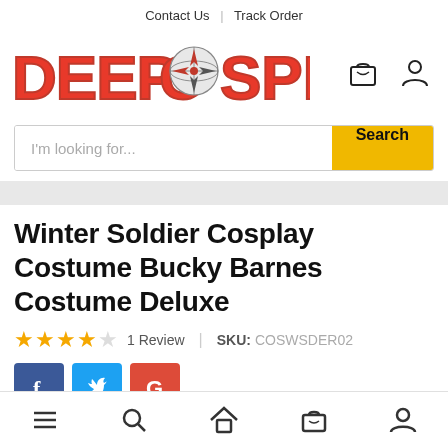Contact Us | Track Order
[Figure (logo): DeepCosplay logo with compass rose replacing the 'O', red bold lettering with dark red outline, shopping bag icon and user icon top right]
[Figure (screenshot): Search bar with placeholder text 'I'm looking for...' and yellow Search button]
Winter Soldier Cosplay Costume Bucky Barnes Costume Deluxe
★★★★☆  1 Review  |  SKU: COSWSDER02
[Figure (infographic): Social share buttons: Facebook (blue), Twitter (light blue), Google (red)]
Bottom navigation bar with menu, search, home, bag, and user icons